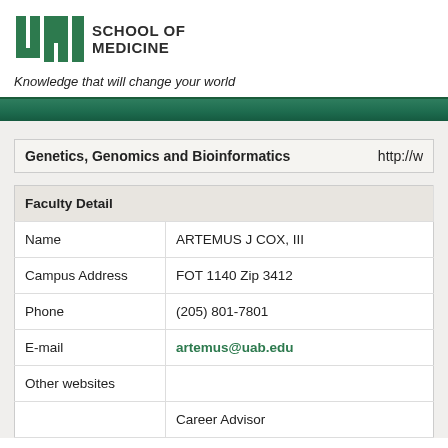[Figure (logo): UAB School of Medicine logo with green UAB block letters and text 'SCHOOL OF MEDICINE']
Knowledge that will change your world
| Genetics, Genomics and Bioinformatics | http://w... |
| --- | --- |
| Faculty Detail |  |
| --- | --- |
| Name | ARTEMUS J COX, III |
| Campus Address | FOT 1140 Zip 3412 |
| Phone | (205) 801-7801 |
| E-mail | artemus@uab.edu |
| Other websites |  |
|  | Career Advisor |